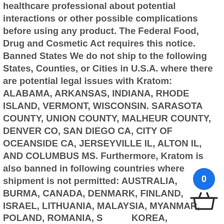healthcare professional about potential interactions or other possible complications before using any product. The Federal Food, Drug and Cosmetic Act requires this notice. Banned States We do not ship to the following States, Counties, or Cities in U.S.A. where there are potential legal issues with Kratom: ALABAMA, ARKANSAS, INDIANA, RHODE ISLAND, VERMONT, WISCONSIN. SARASOTA COUNTY, UNION COUNTY, MALHEUR COUNTY, DENVER CO, SAN DIEGO CA, CITY OF OCEANSIDE CA, JERSEYVILLE IL, ALTON IL, AND COLUMBUS MS. Furthermore, Kratom is also banned in following countries where shipment is not permitted: AUSTRALIA, BURMA, CANADA, DENMARK, FINLAND, ISRAEL, LITHUANIA, MALAYSIA, MYANMAR, POLAND, ROMANIA, SOUTH KOREA, SWEDEN, THAILAND, UNITED KINGDOM and VIETNAM.